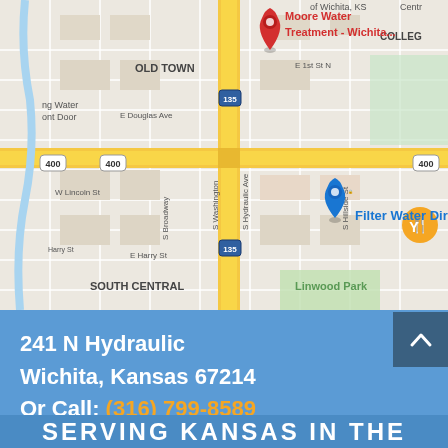[Figure (map): Google Maps screenshot showing Wichita, KS area with Moore Water Treatment - Wichita marker (red pin) at top and Filter Water Direct LLC marker (blue pin) in the middle. Roads visible include S Hydraulic Ave, S Broadway, S Washington, S Hillside St. Highway 135 and 400 are also shown. Neighborhoods labeled include OLD TOWN, SOUTH CENTRAL, COLLEGE, and Linwood Park.]
241 N Hydraulic
Wichita, Kansas 67214
Or Call: (316) 799-8589
SERVING KANSAS IN THE